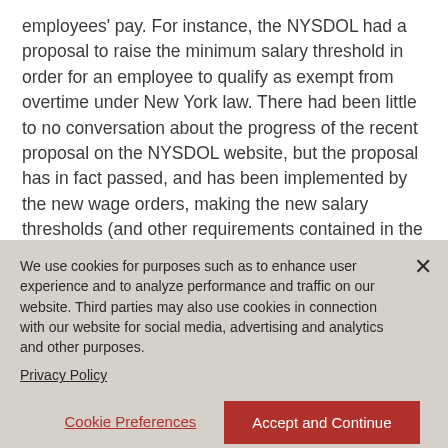employees' pay. For instance, the NYSDOL had a proposal to raise the minimum salary threshold in order for an employee to qualify as exempt from overtime under New York law. There had been little to no conversation about the progress of the recent proposal on the NYSDOL website, but the proposal has in fact passed, and has been implemented by the new wage orders, making the new salary thresholds (and other requirements contained in the proposal) effective as of
We use cookies for purposes such as to enhance user experience and to analyze performance and traffic on our website. Third parties may also use cookies in connection with our website for social media, advertising and analytics and other purposes.
Privacy Policy
Cookie Preferences
Accept and Continue